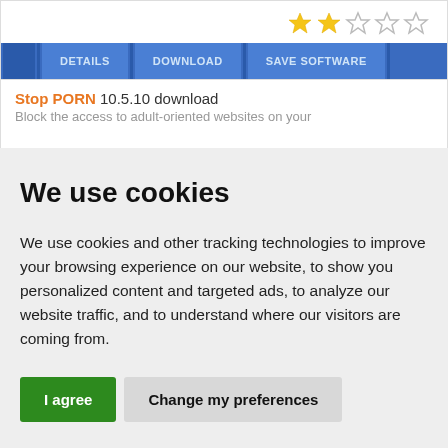[Figure (other): Star rating display showing 2 out of 5 stars filled (gold), 3 empty stars]
[Figure (screenshot): Navigation bar with buttons: DETAILS, DOWNLOAD, SAVE SOFTWARE on blue background]
Stop PORN 10.5.10 download
Block the access to adult-oriented websites on your
We use cookies
We use cookies and other tracking technologies to improve your browsing experience on our website, to show you personalized content and targeted ads, to analyze our website traffic, and to understand where our visitors are coming from.
I agree
Change my preferences